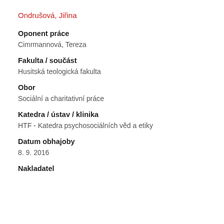Ondrušová, Jiřina
Oponent práce
Cimrmannová, Tereza
Fakulta / součást
Husitská teologická fakulta
Obor
Sociální a charitativní práce
Katedra / ústav / klinika
HTF - Katedra psychosociálních věd a etiky
Datum obhajoby
8. 9. 2016
Nakladatel